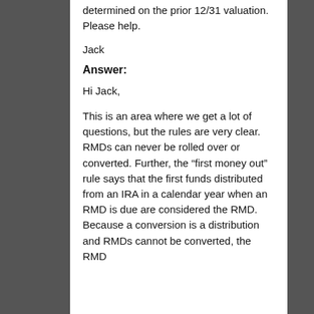as long as you meet the full RMD amount determined on the prior 12/31 valuation. Please help.
Jack
Answer:
Hi Jack,
This is an area where we get a lot of questions, but the rules are very clear. RMDs can never be rolled over or converted. Further, the “first money out” rule says that the first funds distributed from an IRA in a calendar year when an RMD is due are considered the RMD. Because a conversion is a distribution and RMDs cannot be converted, the RMD